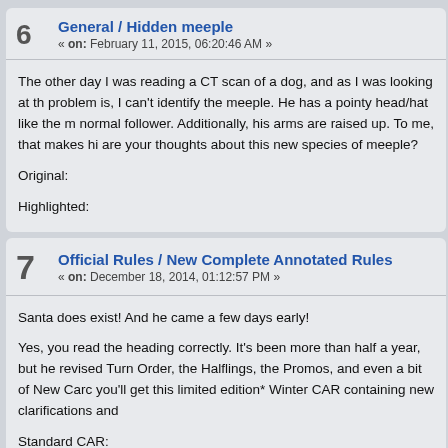6   General / Hidden meeple
« on: February 11, 2015, 06:20:46 AM »
The other day I was reading a CT scan of a dog, and as I was looking at th problem is, I can't identify the meeple. He has a pointy head/hat like the m normal follower. Additionally, his arms are raised up. To me, that makes hi are your thoughts about this new species of meeple?
Original:
Highlighted:
7   Official Rules / New Complete Annotated Rules
« on: December 18, 2014, 01:12:57 PM »
Santa does exist! And he came a few days early!
Yes, you read the heading correctly. It's been more than half a year, but he revised Turn Order, the Halflings, the Promos, and even a bit of New Car you'll get this limited edition* Winter CAR containing new clarifications an
Standard CAR: http://www.carcassonnecentral.com/community/index.php?
Winter CAR: http://www.carcassonnecentral.com/community/index.php?a